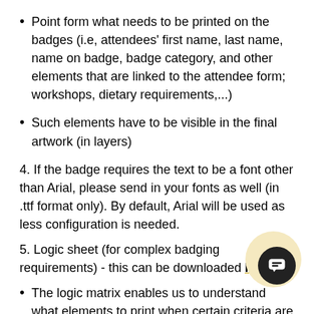Point form what needs to be printed on the badges (i.e, attendees' first name, last name, name on badge, badge category, and other elements that are linked to the attendee form; workshops, dietary requirements,...)
Such elements have to be visible in the final artwork (in layers)
4. If the badge requires the text to be a font other than Arial, please send in your fonts as well (in .ttf format only). By default, Arial will be used as less configuration is needed.
5. Logic sheet (for complex badging requirements) - this can be downloaded here.
The logic matrix enables us to understand what elements to print when certain criteria are met.
For example, all badge category with 'VIP' has